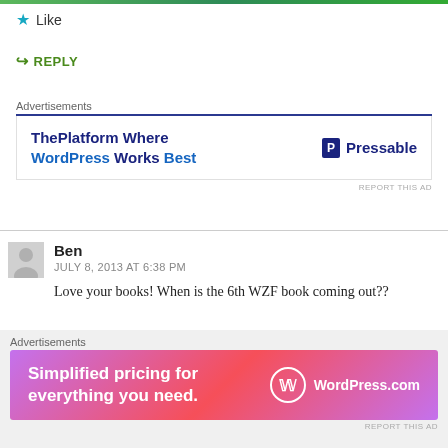Like
↪ REPLY
Advertisements
[Figure (infographic): Advertisement banner for Pressable - ThePlatform Where WordPress Works Best]
REPORT THIS AD
Ben
JULY 8, 2013 AT 6:38 PM
Love your books! When is the 6th WZF book coming out??
Like
Advertisements
[Figure (infographic): Advertisement banner - Simplified pricing for everything you need. WordPress.com]
REPORT THIS AD